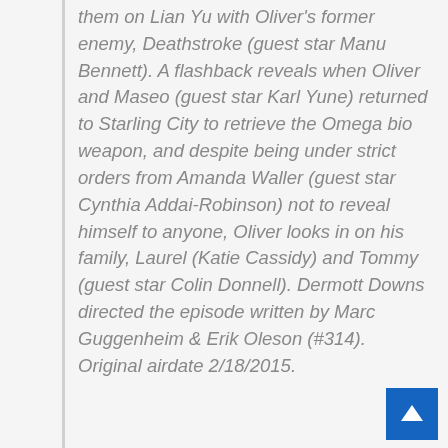them on Lian Yu with Oliver's former enemy, Deathstroke (guest star Manu Bennett). A flashback reveals when Oliver and Maseo (guest star Karl Yune) returned to Starling City to retrieve the Omega bio weapon, and despite being under strict orders from Amanda Waller (guest star Cynthia Addai-Robinson) not to reveal himself to anyone, Oliver looks in on his family, Laurel (Katie Cassidy) and Tommy (guest star Colin Donnell). Dermott Downs directed the episode written by Marc Guggenheim & Erik Oleson (#314). Original airdate 2/18/2015.